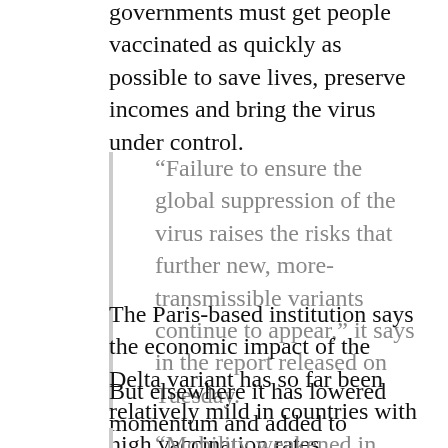governments must get people vaccinated as quickly as possible to save lives, preserve incomes and bring the virus under control.
“Failure to ensure the global suppression of the virus raises the risks that further new, more-transmissible variants continue to appear,” it says in the report released on Tuesday.
The Paris-based institution says the economic impact of the Delta variant has so far been relatively mild in countries with high vaccination rates.
But elsewhere it has lowered momentum and added to pressures on global supply chains and costs.
“Mobility weakened in some Asia